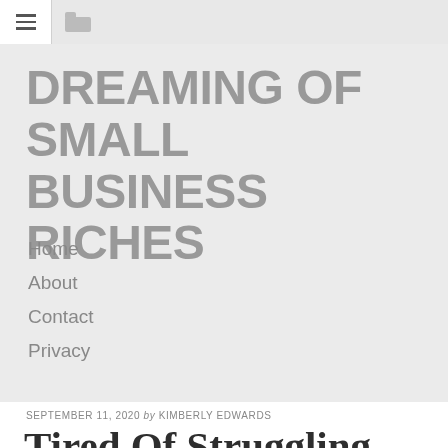[hamburger menu icon] [folder icon]
DREAMING OF SMALL BUSINESS RICHES
Home
About
Contact
Privacy
SEPTEMBER 11, 2020 by KIMBERLY EDWARDS
Tired Of Struggling